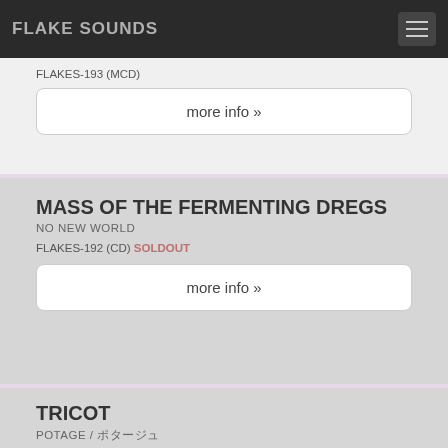FLAKE SOUNDS
FLAKES-193 (MCD)
more info »
MASS OF THE FERMENTING DREGS
NO NEW WORLD
FLAKES-192 (CD) SOLDOUT
more info »
TRICOT
POTAGE / ポタージュ
FLAKES-191 (7") SOLDOUT